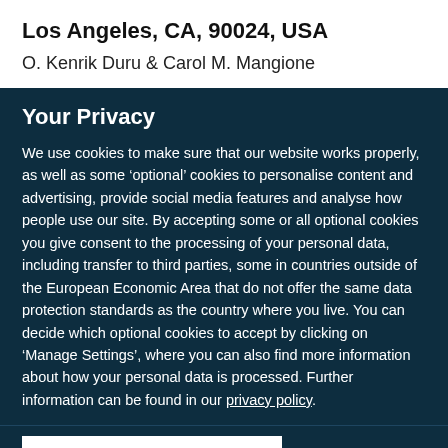Los Angeles, CA, 90024, USA
O. Kenrik Duru & Carol M. Mangione
Your Privacy
We use cookies to make sure that our website works properly, as well as some ‘optional’ cookies to personalise content and advertising, provide social media features and analyse how people use our site. By accepting some or all optional cookies you give consent to the processing of your personal data, including transfer to third parties, some in countries outside of the European Economic Area that do not offer the same data protection standards as the country where you live. You can decide which optional cookies to accept by clicking on ‘Manage Settings’, where you can also find more information about how your personal data is processed. Further information can be found in our privacy policy.
Accept all cookies
Manage preferences